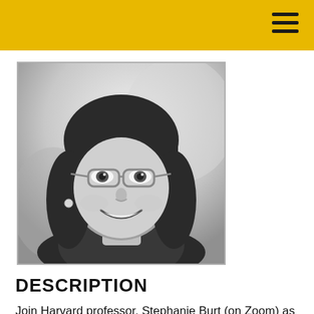[Figure (photo): Black and white headshot of a woman with a bob haircut, bangs, and glasses, smiling at the camera. She appears to be a Harvard professor named Stephanie Burt.]
DESCRIPTION
Join Harvard professor, Stephanie Burt (on Zoom) as she